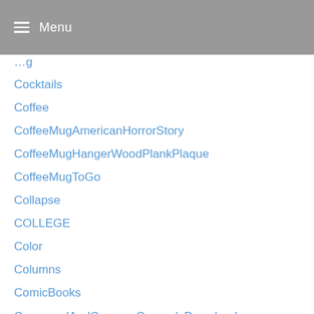Menu
Cocktails
Coffee
CoffeeMugAmericanHorrorStory
CoffeeMugHangerWoodPlankPlaque
CoffeeMugToGo
Collapse
COLLEGE
Color
Columns
ComicBooks
CommandAndConquerGeneralsDownload
CommandAndConquerTiberiumAlliances
CommandPromptRunAsAdministrator
Commentary
Commerce
Community